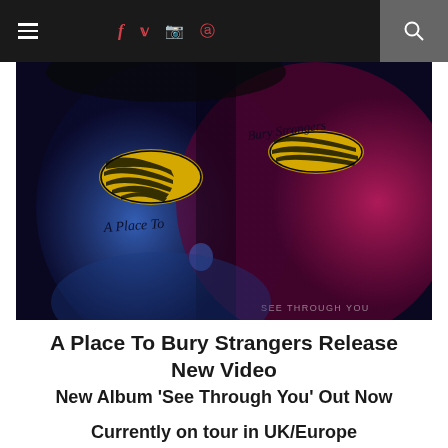≡ f ✦ ☐ ⊕ 🔍
[Figure (photo): Album cover art for 'See Through You' by A Place To Bury Strangers — a close-up photo of a face illuminated with blue and magenta/pink lighting, with psychedelic yellow-striped patterns on the closed eyelids. Handwritten text reads 'A Place To' on the left and 'Bury Strangers' on the right. Watermark text reads 'SEE THROUGH YOU' at the bottom right.]
A Place To Bury Strangers Release New Video
New Album 'See Through You' Out Now
Currently on tour in UK/Europe